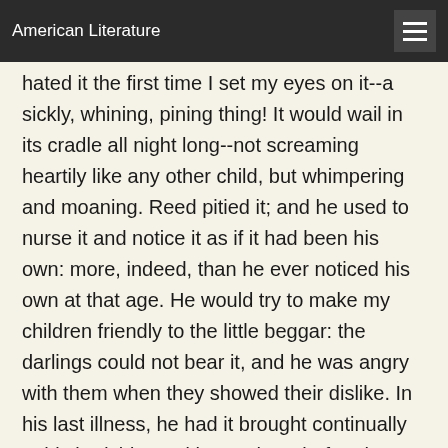American Literature
hated it the first time I set my eyes on it--a sickly, whining, pining thing! It would wail in its cradle all night long--not screaming heartily like any other child, but whimpering and moaning. Reed pitied it; and he used to nurse it and notice it as if it had been his own: more, indeed, than he ever noticed his own at that age. He would try to make my children friendly to the little beggar: the darlings could not bear it, and he was angry with them when they showed their dislike. In his last illness, he had it brought continually to his bedside; and but an hour before he died, he bound me by vow to keep the creature. I would as soon have been charged with a pauper brat out of a workhouse: but he was weak.